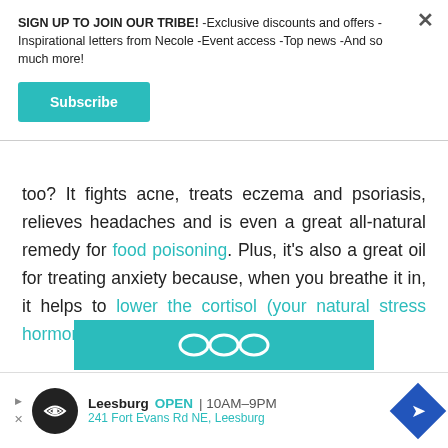SIGN UP TO JOIN OUR TRIBE! -Exclusive discounts and offers -Inspirational letters from Necole -Event access -Top news -And so much more!
Subscribe
too? It fights acne, treats eczema and psoriasis, relieves headaches and is even a great all-natural remedy for food poisoning. Plus, it’s also a great oil for treating anxiety because, when you breathe it in, it helps to lower the cortisol (your natural stress hormone) levels in your system. Dope.
[Figure (other): Teal banner with logo/icon at bottom of article area]
[Figure (other): Advertisement footer: Leesburg store, OPEN 10AM-9PM, 241 Fort Evans Rd NE Leesburg, with logo circle and direction arrow diamond]